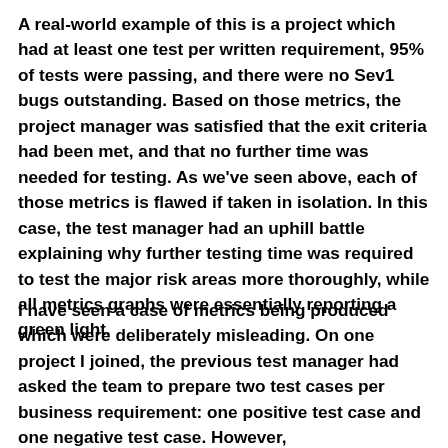A real-world example of this is a project which had at least one test per written requirement, 95% of tests were passing, and there were no Sev1 bugs outstanding. Based on those metrics, the project manager was satisfied that the exit criteria had been met, and that no further time was needed for testing. As we've seen above, each of those metrics is flawed if taken in isolation. In this case, the test manager had an uphill battle explaining why further testing time was required to test the major risk areas more thoroughly, while all metrics graphs were essentially reporting a green light.
I have seen a case of metrics being produced which were deliberately misleading. On one project I joined, the previous test manager had asked the team to prepare two test cases per business requirement: one positive test case and one negative test case. However,